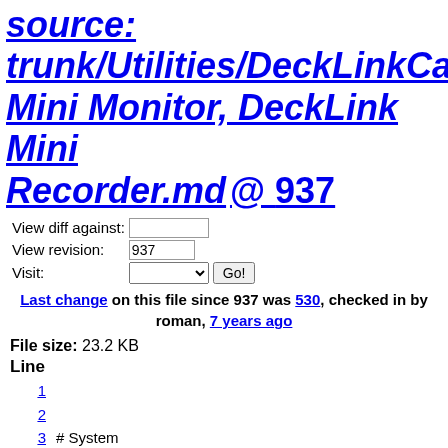source: trunk/Utilities/DeckLinkCapabi Mini Monitor, DeckLink Mini Recorder.md @ 937
View diff against: [input] View revision: 937 Visit: [select] Go!
Last change on this file since 937 was 530, checked in by roman, 7 years ago
File size: 23.2 KB
Line
1
2
3   # System
4
5   * System Version: `6.1` Build `7601`; Windows 7; Service Pack ... Service Pack `1.0`; Suite Mask `0x100`; Product Type `0x1`...